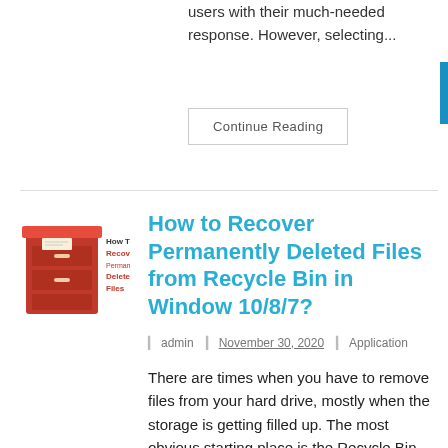users with their much-needed response. However, selecting...
Continue Reading
[Figure (logo): How To Recover Permanently Deleted Files logo - red filing cabinet icon with text]
How to Recover Permanently Deleted Files from Recycle Bin in Window 10/8/7?
admin   November 30, 2020   Application
There are times when you have to remove files from your hard drive, mostly when the storage is getting filled up. The most obvious starting place is the Recycle Bin because it contains files and folders you don't need. What...